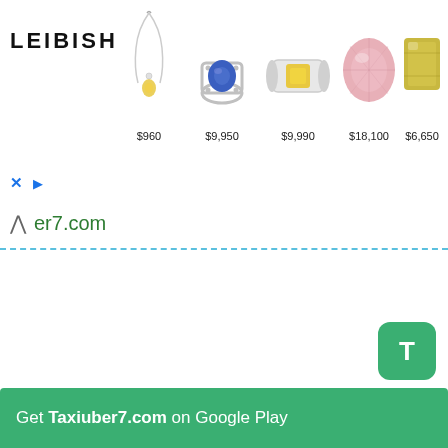[Figure (infographic): Leibish jewelry advertisement banner showing logo and 5 jewelry items with prices: pendant necklace $960, sapphire ring $9,950, yellow diamond band $9,990, pink oval diamond $18,100, yellow-green diamond $6,650]
er7.com
[Figure (infographic): Green rounded square button with letter T]
Get Taxiuber7.com on Google Play